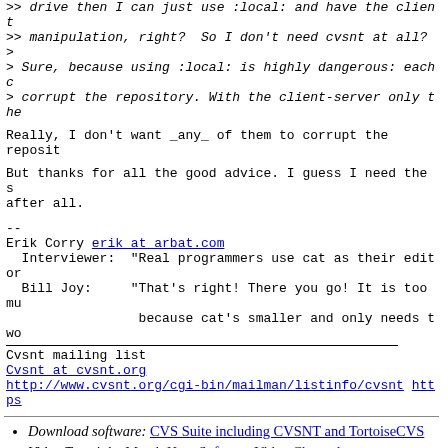>> drive then I can just use :local: and have the client
>> manipulation, right?  So I don't need cvsnt at all?
>
> Sure, because using :local: is highly dangerous: each c
> corrupt the repository. With the client-server only the
Really, I don't want _any_ of them to corrupt the reposit
But thanks for all the good advice.  I guess I need the s
after all.
--
Erik Corry erik at arbat.com
  Interviewer:  "Real programmers use cat as their editor
  Bill Joy:     "That's right! There you go! It is too mu
                 because cat's smaller and only needs two
Cvsnt mailing list
Cvsnt at cvsnt.org
http://www.cvsnt.org/cgi-bin/mailman/listinfo/cvsnt  https
Download software: CVS Suite including CVSNT and TortoiseCVS
Video Tutorials: March Hare Software Video Channel
Latest documentaion: CVSNT Documentation Library
Previous message: [Cvsnt] Maximun connections on the CVS Server